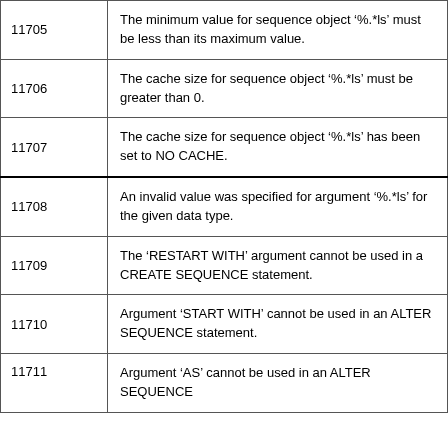| Code | Message |
| --- | --- |
| 11705 | The minimum value for sequence object '%.*ls' must be less than its maximum value. |
| 11706 | The cache size for sequence object '%.*ls' must be greater than 0. |
| 11707 | The cache size for sequence object '%.*ls' has been set to NO CACHE. |
| 11708 | An invalid value was specified for argument '%.*ls' for the given data type. |
| 11709 | The 'RESTART WITH' argument cannot be used in a CREATE SEQUENCE statement. |
| 11710 | Argument 'START WITH' cannot be used in an ALTER SEQUENCE statement. |
| 11711 | Argument 'AS' cannot be used in an ALTER SEQUENCE |